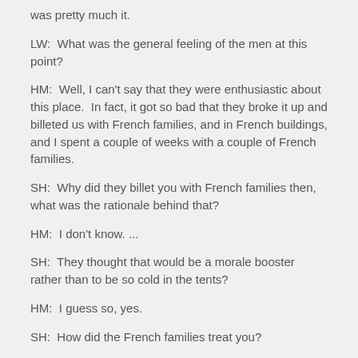was pretty much it.
LW:  What was the general feeling of the men at this point?
HM:  Well, I can't say that they were enthusiastic about this place.  In fact, it got so bad that they broke it up and billeted us with French families, and in French buildings, and I spent a couple of weeks with a couple of French families.
SH:  Why did they billet you with French families then, what was the rationale behind that?
HM:  I don't know. ...
SH:  They thought that would be a morale booster rather than to be so cold in the tents?
HM:  I guess so, yes.
SH:  How did the French families treat you?
HM:  Fine, fine, very nice, of course I was a single officer